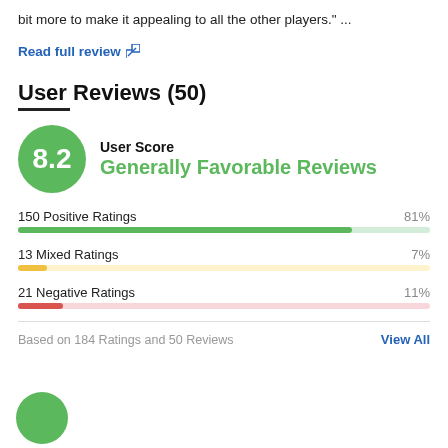bit more to make it appealing to all the other players." ...
Read full review
User Reviews (50)
[Figure (infographic): User Score 8.2 - Generally Favorable Reviews, with rating bars: 150 Positive Ratings 81%, 13 Mixed Ratings 7%, 21 Negative Ratings 11%]
Based on 184 Ratings and 50 Reviews
View All